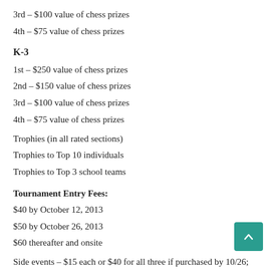3rd – $100 value of chess prizes
4th – $75 value of chess prizes
K-3
1st – $250 value of chess prizes
2nd – $150 value of chess prizes
3rd – $100 value of chess prizes
4th – $75 value of chess prizes
Trophies (in all rated sections)
Trophies to Top 10 individuals
Trophies to Top 3 school teams
Tournament Entry Fees:
$40 by October 12, 2013
$50 by October 26, 2013
$60 thereafter and onsite
Side events – $15 each or $40 for all three if purchased by 10/26; $20